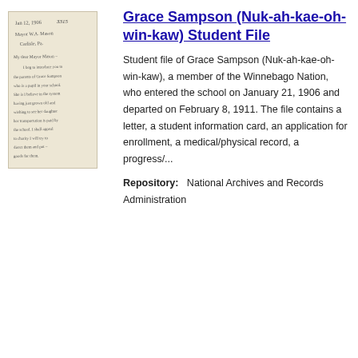[Figure (photo): Handwritten letter dated Jan 12, 1906 with number 3315 visible at top right, written in cursive on aged paper]
Grace Sampson (Nuk-ah-kae-oh-win-kaw) Student File
Student file of Grace Sampson (Nuk-ah-kae-oh-win-kaw), a member of the Winnebago Nation, who entered the school on January 21, 1906 and departed on February 8, 1911. The file contains a letter, a student information card, an application for enrollment, a medical/physical record, a progress/...
Repository:   National Archives and Records Administration